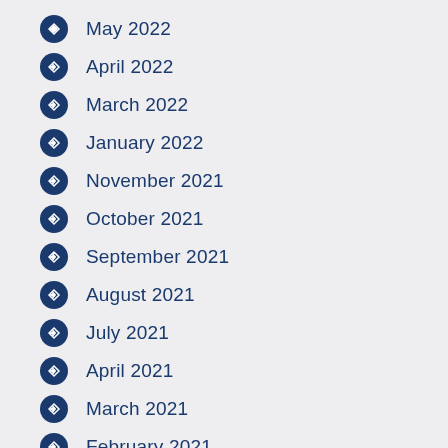May 2022
April 2022
March 2022
January 2022
November 2021
October 2021
September 2021
August 2021
July 2021
April 2021
March 2021
February 2021
January 2021
August 2020